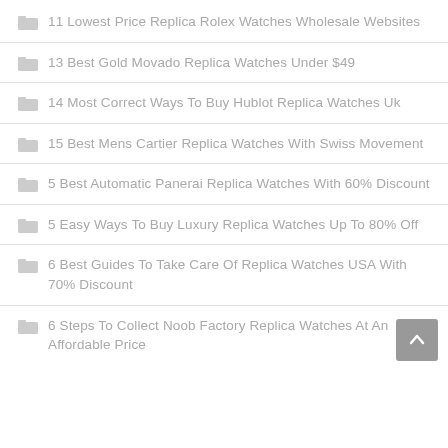11 Lowest Price Replica Rolex Watches Wholesale Websites
13 Best Gold Movado Replica Watches Under $49
14 Most Correct Ways To Buy Hublot Replica Watches Uk
15 Best Mens Cartier Replica Watches With Swiss Movement
5 Best Automatic Panerai Replica Watches With 60% Discount
5 Easy Ways To Buy Luxury Replica Watches Up To 80% Off
6 Best Guides To Take Care Of Replica Watches USA With 70% Discount
6 Steps To Collect Noob Factory Replica Watches At An Affordable Price